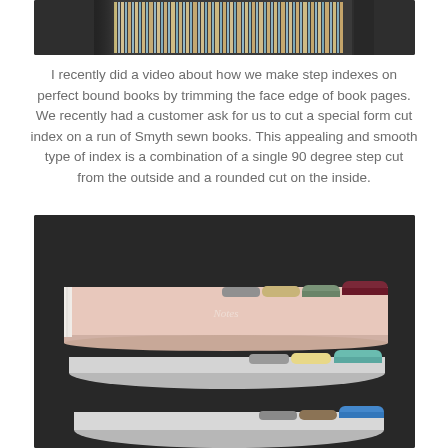[Figure (photo): Close-up photo of a book spine showing colorful striped pages on a dark background]
I recently did a video about how we make step indexes on perfect bound books by trimming the face edge of book pages. We recently had a customer ask for us to cut a special form cut index on a run of Smyth sewn books. This appealing and smooth type of index is a combination of a single 90 degree step cut from the outside and a rounded cut on the inside.
[Figure (photo): Photo of a stack of three softcover notebooks/books with tab indexes visible on their right edges, showing various colored tabs in teal, yellow, green, burgundy, and blue sections, on a dark background. The top book has a light pink cover labeled 'Notes'.]